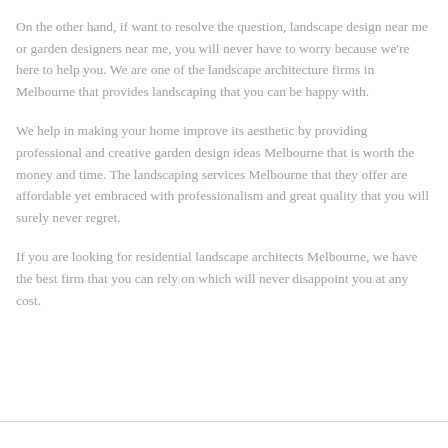On the other hand, if want to resolve the question, landscape design near me or garden designers near me, you will never have to worry because we're here to help you. We are one of the landscape architecture firms in Melbourne that provides landscaping that you can be happy with.
We help in making your home improve its aesthetic by providing professional and creative garden design ideas Melbourne that is worth the money and time. The landscaping services Melbourne that they offer are affordable yet embraced with professionalism and great quality that you will surely never regret.
If you are looking for residential landscape architects Melbourne, we have the best firm that you can rely on which will never disappoint you at any cost.